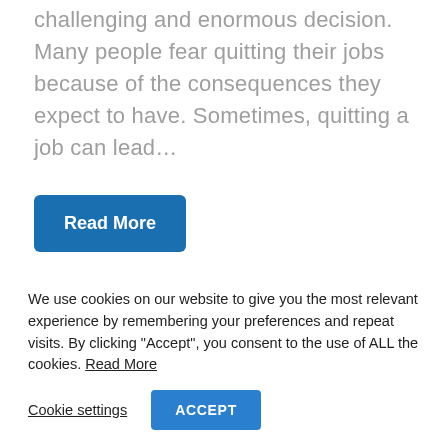challenging and enormous decision. Many people fear quitting their jobs because of the consequences they expect to have. Sometimes, quitting a job can lead…
Read More
We use cookies on our website to give you the most relevant experience by remembering your preferences and repeat visits. By clicking "Accept", you consent to the use of ALL the cookies. Read More
Cookie settings
ACCEPT